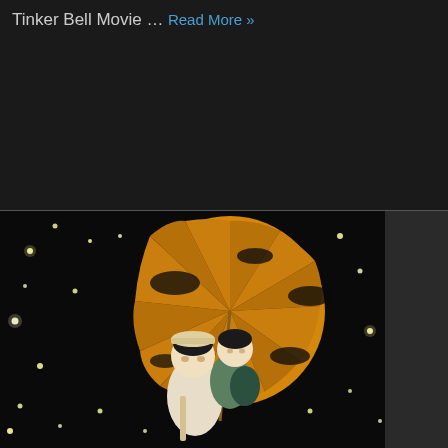Tinker Bell Movie ...
Read More »
[Figure (illustration): Anime illustration from Grave of the Fireflies showing a boy carrying a younger girl on his back, both with dark hair. Behind them is a large orange parasol/umbrella. The background is dark/black with glowing fireflies scattered throughout. The art style is Studio Ghibli.]